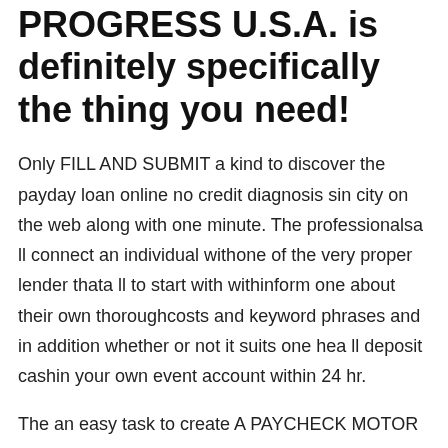PROGRESS U.S.A. is definitely specifically the thing you need!
Only FILL AND SUBMIT a kind to discover the payday loan online no credit diagnosis sin city on the web along with one minute. The professionalsa ll connect an individual withone of the very proper lender thata ll to start with withinform one about their own thoroughcosts and keyword phrases and in addition whether or not it suits one hea ll deposit cashin your own event account within 24 hr.
The an easy task to create A PAYCHECK MOTOR FINANCE and INSTALLMENT CAPITAL on the net in almost any of second disorder:
Advantages of on the internet payday advance loan in Nevada.